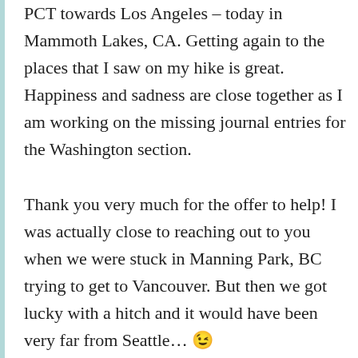PCT towards Los Angeles – today in Mammoth Lakes, CA. Getting again to the places that I saw on my hike is great. Happiness and sadness are close together as I am working on the missing journal entries for the Washington section. Thank you very much for the offer to help! I was actually close to reaching out to you when we were stuck in Manning Park, BC trying to get to Vancouver. But then we got lucky with a hitch and it would have been very far from Seattle… 😉 Hope to stay in touch! Will be flying